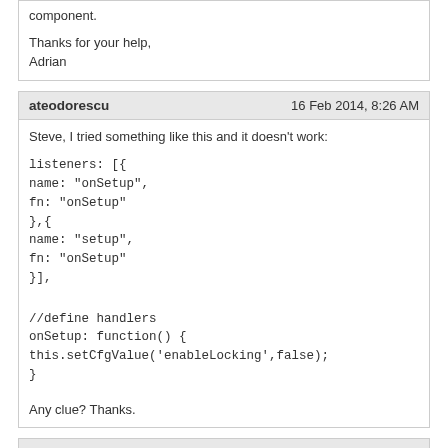Thanks for your help,
Adrian
ateodorescu	16 Feb 2014, 8:26 AM
Steve, I tried something like this and it doesn't work:
listeners: [{
name: "onSetup",
fn: "onSetup"
},{
name: "setup",
fn: "onSetup"
}],

//define handlers
onSetup: function() {
this.setCfgValue('enableLocking',false);
}
Any clue? Thanks.
honestbleeps	16 Feb 2014, 7:36 PM
I see what you're saying now... this one's pretty specific, and tricky! I'm not sure off the top of my head how to support that right now. Internally we have an event that would help with this, but it's not exposed to AUXs yet due to some complexities with how we've had to implement it (for security, primarily). I think for now you may just need to document this for any users of the AUX, but I'll ask around internally and see if I can come up with any other approach to